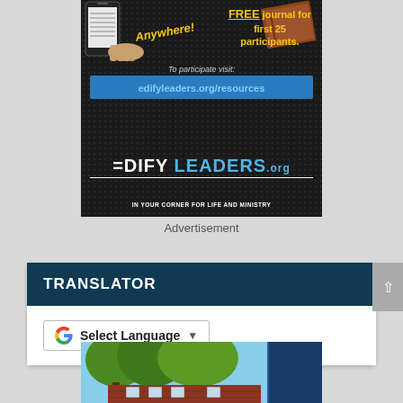[Figure (illustration): Edify Leaders advertisement on dark dotted background. Shows phone and journal images with text: 'Anywhere!', 'FREE journal for first 25 participants.', 'To participate visit: edifyleaders.org/resources', 'EDIFY LEADERS.org', 'IN YOUR CORNER FOR LIFE AND MINISTRY']
Advertisement
TRANSLATOR
[Figure (screenshot): Google Translate widget showing 'G Select Language' dropdown with arrow]
[Figure (photo): Bottom portion of a photo showing trees and a brick building with a blue banner/overlay on the right side]